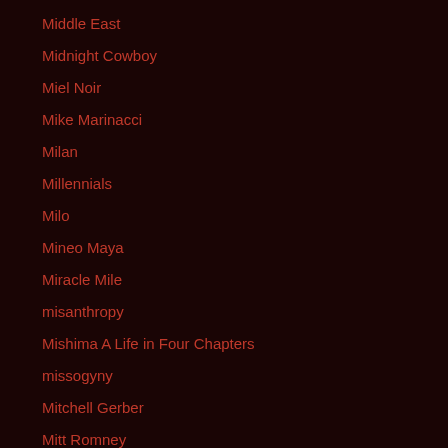Middle East
Midnight Cowboy
Miel Noir
Mike Marinacci
Milan
Millennials
Milo
Mineo Maya
Miracle Mile
misanthropy
Mishima A Life in Four Chapters
missogyny
Mitchell Gerber
Mitt Romney
modeling